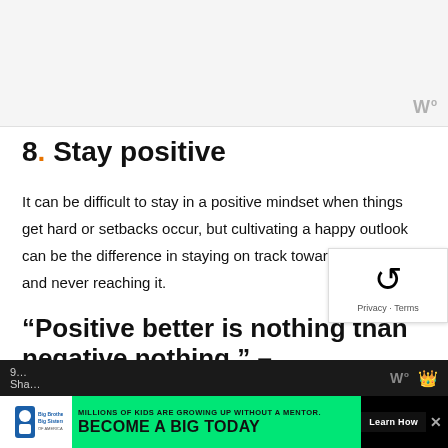[Figure (other): Light gray placeholder image area with a watermark logo in the bottom right corner]
8. Stay positive
It can be difficult to stay in a positive mindset when things get hard or setbacks occur, but cultivating a happy outlook can be the difference in staying on track towards your goal and never reaching it.
“Positive better is nothing than negative nothing.” –
[Figure (other): Advertisement bar: Big Brothers Big Sisters logo, green background with text MILLIONS OF KIDS ARE GROWING UP WITHOUT A MENTOR. BECOME A BIG TODAY, Learn How button]